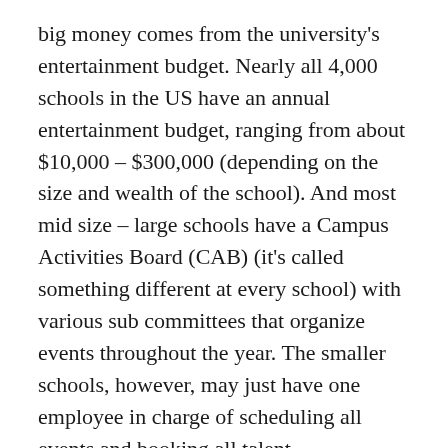big money comes from the university's entertainment budget. Nearly all 4,000 schools in the US have an annual entertainment budget, ranging from about $10,000 – $300,000 (depending on the size and wealth of the school). And most mid size – large schools have a Campus Activities Board (CAB) (it's called something different at every school) with various sub committees that organize events throughout the year. The smaller schools, however, may just have one employee in charge of scheduling all events and booking all talent.
The members of the CAB aren't typically into the same kind of music as the college radio station DJs. Whereas the DJs are playing the hottest new indie-electro-dream-spaz act out of Portland, the CABs are booking acts that sound like top 40. As much as they'd like to bring diverse kinds of music to campus, singers/songwriters and pop/rock bands